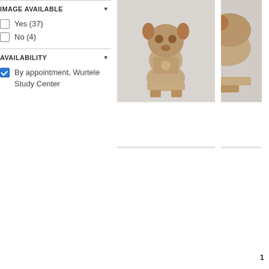IMAGE AVAILABLE
Yes (37)
No (4)
AVAILABILITY
By appointment, Wurtele Study Center
[Figure (photo): Front view of a pre-Columbian ceramic figurine with animal head features, seated on a platform, shown against a gray background]
[Figure (photo): Partial side view of a pre-Columbian ceramic figurine, cropped, shown against a gray background]
1